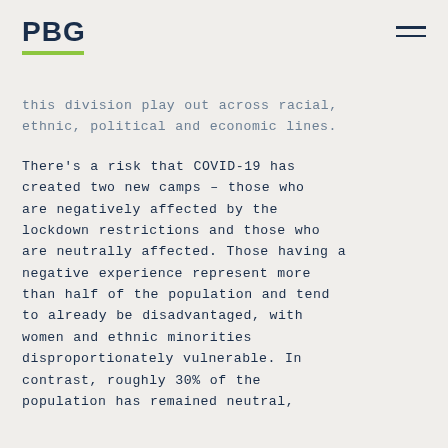PBG
this division play out across racial, ethnic, political and economic lines.
There's a risk that COVID-19 has created two new camps – those who are negatively affected by the lockdown restrictions and those who are neutrally affected. Those having a negative experience represent more than half of the population and tend to already be disadvantaged, with women and ethnic minorities disproportionately vulnerable. In contrast, roughly 30% of the population has remained neutral,